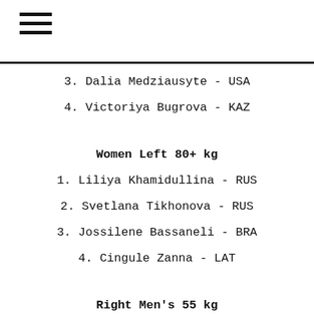≡
3. Dalia Medziausyte - USA
4. Victoriya Bugrova - KAZ
Women Left 80+ kg
1. Liliya Khamidullina - RUS
2. Svetlana Tikhonova - RUS
3. Jossilene Bassaneli - BRA
4. Cingule Zanna - LAT
Right Men's 55 kg
1. Gaydardjiev Georgi - BUL
2. Arsen Chomaev - RUS
3. Tsutomu Otagiri - JPN